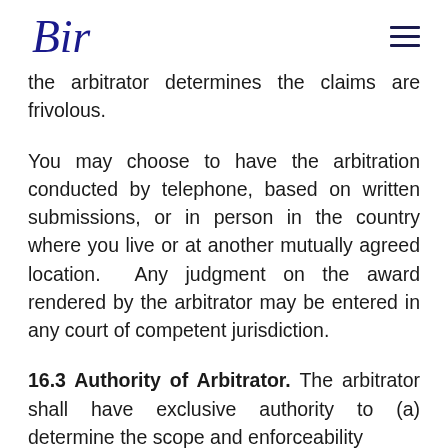Bir [logo]
the arbitrator determines the claims are frivolous.
You may choose to have the arbitration conducted by telephone, based on written submissions, or in person in the country where you live or at another mutually agreed location.  Any judgment on the award rendered by the arbitrator may be entered in any court of competent jurisdiction.
16.3 Authority of Arbitrator. The arbitrator shall have exclusive authority to (a) determine the scope and enforceability